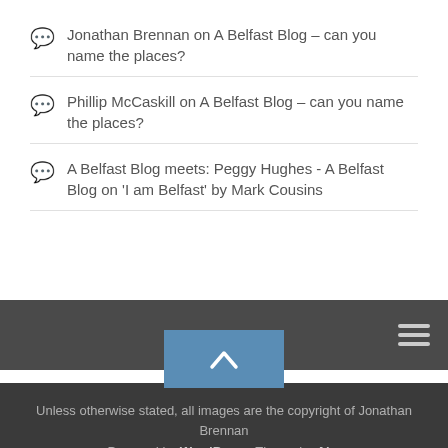Jonathan Brennan on A Belfast Blog – can you name the places?
Phillip McCaskill on A Belfast Blog – can you name the places?
A Belfast Blog meets: Peggy Hughes - A Belfast Blog on 'I am Belfast' by Mark Cousins
Unless otherwise stated, all images are the copyright of Jonathan Brennan
Powered by WordPress. Theme by Alx.